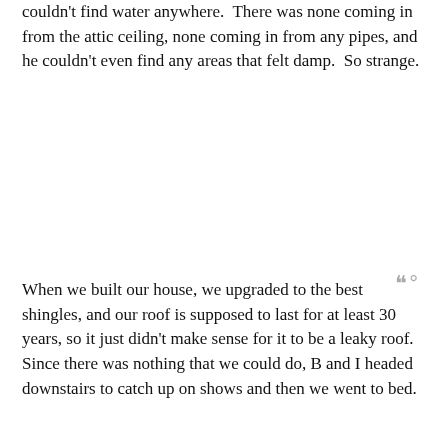couldn't find water anywhere.  There was none coming in from the attic ceiling, none coming in from any pipes, and he couldn't even find any areas that felt damp.  So strange.
When we built our house, we upgraded to the best shingles, and our roof is supposed to last for at least 30 years, so it just didn't make sense for it to be a leaky roof.  Since there was nothing that we could do, B and I headed downstairs to catch up on shows and then we went to bed.